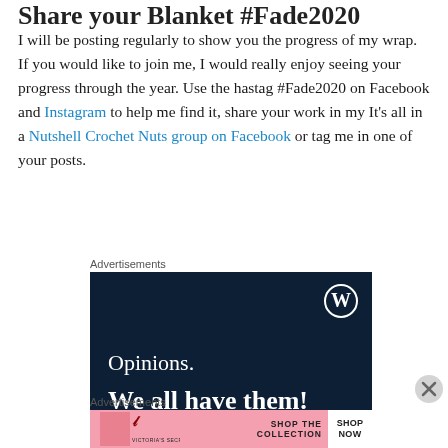I will be posting regularly to show you the progress of my wrap. If you would like to join me, I would really enjoy seeing your progress through the year. Use the hastag #Fade2020 on Facebook and Instagram to help me find it, share your work in my It's all in a Nutshell Crochet Nuts group on Facebook or tag me in one of your posts.
Advertisements
[Figure (other): WordPress advertisement banner with dark navy background showing WordPress W logo, text 'Opinions. We all have them!']
Advertisements
[Figure (other): Victoria's Secret advertisement with pink background showing model, VS logo, 'SHOP THE COLLECTION' text and 'SHOP NOW' button]